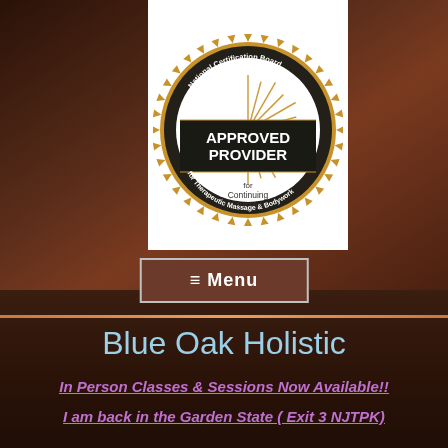[Figure (logo): National Certification Board for Therapeutic Massage & Bodywork - Approved Provider for Continuing Education seal/badge]
≡ Menu
Blue Oak Holistic
In Person Classes & Sessions Now Available!!
I am back in the Garden State ( Exit 3 NJTPK)